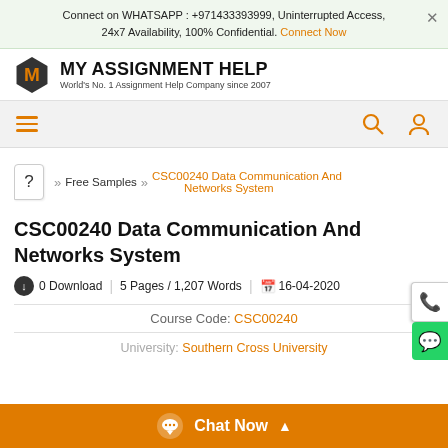Connect on WHATSAPP : +971433393999, Uninterrupted Access, 24x7 Availability, 100% Confidential. Connect Now
[Figure (logo): My Assignment Help logo with orange M on dark hexagon and company name]
[Figure (screenshot): Navigation bar with hamburger menu and search/profile icons]
? >> Free Samples >> CSC00240 Data Communication And Networks System
CSC00240 Data Communication And Networks System
0 Download | 5 Pages / 1,207 Words | 16-04-2020
Course Code: CSC00240
University: Southern Cross University